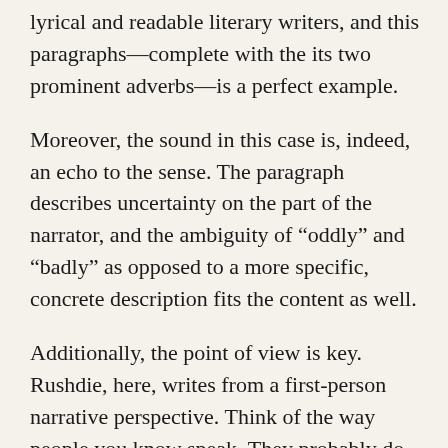lyrical and readable literary writers, and this paragraphs—complete with the its two prominent adverbs—is a perfect example.
Moreover, the sound in this case is, indeed, an echo to the sense. The paragraph describes uncertainty on the part of the narrator, and the ambiguity of “oddly” and “badly” as opposed to a more specific, concrete description fits the content as well.
Additionally, the point of view is key. Rushdie, here, writes from a first-person narrative perspective. Think of the way people you know speak. They probably do not use innovative and unexpected descriptions as a regular feature of their speech.